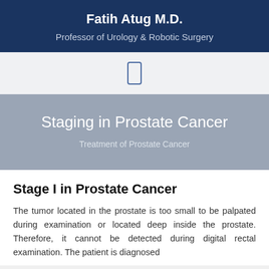Fatih Atug M.D.
Professor of Urology & Robotic Surgery
[Figure (other): Mobile phone icon outline in blue]
Staging in Prostate Cancer
Treatment of Prostate Cancer
Stage I in Prostate Cancer
The tumor located in the prostate is too small to be palpated during examination or located deep inside the prostate. Therefore, it cannot be detected during digital rectal examination. The patient is diagnosed